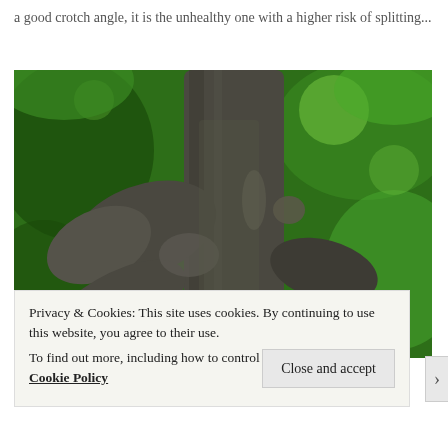a good crotch angle, it is the unhealthy one with a higher risk of splitting...
[Figure (photo): Close-up photograph of a tree trunk and branches showing the crotch angle where branches meet the main trunk, surrounded by green foliage]
Privacy & Cookies: This site uses cookies. By continuing to use this website, you agree to their use.
To find out more, including how to control cookies, see here: Cookie Policy
Close and accept